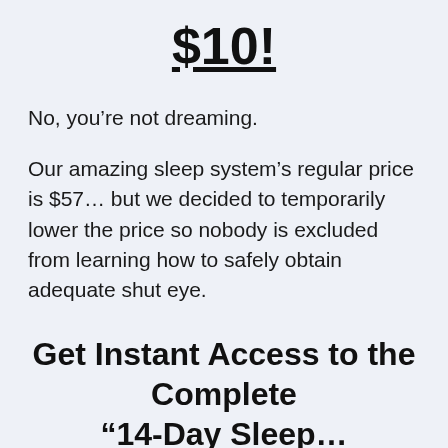$10!
No, you’re not dreaming.
Our amazing sleep system’s regular price is $57… but we decided to temporarily lower the price so nobody is excluded from learning how to safely obtain adequate shut eye.
Get Instant Access to the Complete “14-Day Sleep…